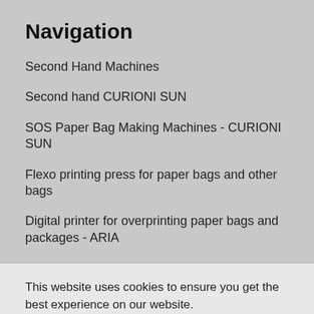Navigation
Second Hand Machines
Second hand CURIONI SUN
SOS Paper Bag Making Machines - CURIONI SUN
Flexo printing press for paper bags and other bags
Digital printer for overprinting paper bags and packages - ARIA
This website uses cookies to ensure you get the best experience on our website.
Agree